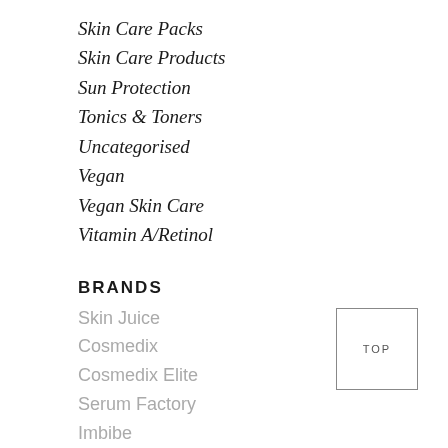Skin Care Packs
Skin Care Products
Sun Protection
Tonics & Toners
Uncategorised
Vegan
Vegan Skin Care
Vitamin A/Retinol
BRANDS
Skin Juice
Cosmedix
Cosmedix Elite
Serum Factory
Imbibe
Green Habit